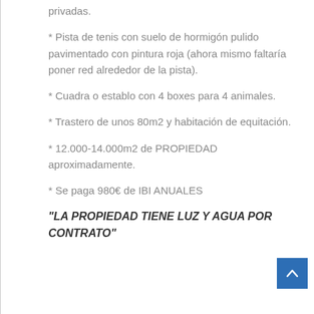privadas.
* Pista de tenis con suelo de hormigón pulido pavimentado con pintura roja (ahora mismo faltaría poner red alrededor de la pista).
* Cuadra o establo con 4 boxes para 4 animales.
* Trastero de unos 80m2 y habitación de equitación.
* 12.000-14.000m2 de PROPIEDAD aproximadamente.
* Se paga 980€ de IBI ANUALES
"LA PROPIEDAD TIENE LUZ Y AGUA POR CONTRATO"